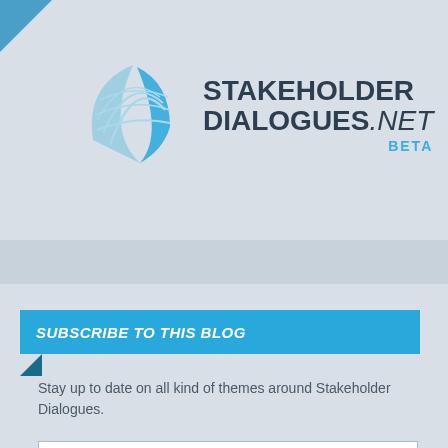[Figure (logo): Stakeholder Dialogues .NET BETA logo with blue leaf/globe graphic icon on the left and bold uppercase text on the right]
SUBSCRIBE TO THIS BLOG
Stay up to date on all kind of themes around Stakeholder Dialogues.
E-Mail-Adresse
Subscribe